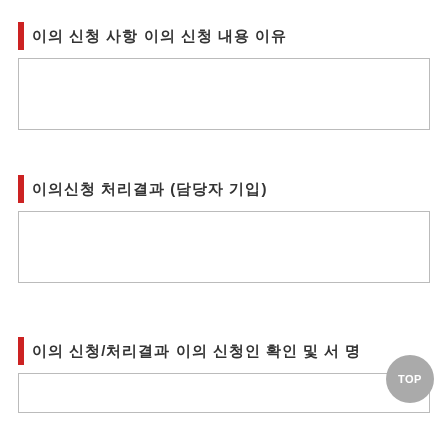이의 신청 사항 이의 신청 내용 이유
이의신청 처리결과 (담당자 기입)
이의 신청/처리결과 이의 신청인 확인 및 서 명